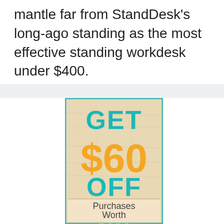mantle far from StandDesk's long-ago standing as the most effective standing workdesk under $400.
[Figure (infographic): Coupon graphic on a wood-textured beige background with teal border. Large teal text 'GET', large orange text '$60', large teal text 'OFF', and a lighter box at the bottom reading 'Purchases Worth $600' (partially visible).]